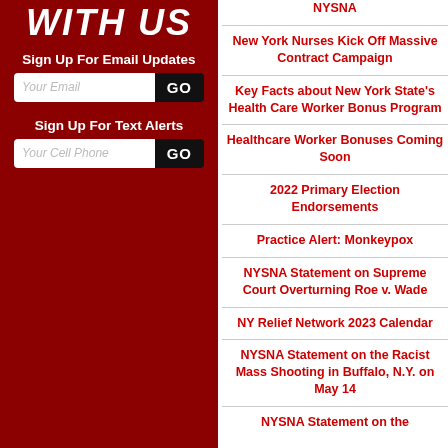WITH US
Sign Up For Email Updates
Your Email  GO
Sign Up For Text Alerts
Your Cell Phone  GO
NYSNA
New York Nurses Kick Off Massive Contract Campaign
Key Facts about New York State's Health Care Worker Bonus Program
Healthcare Worker Bonuses Coming Soon
2022 Primary Election Endorsements
Practice Alert: Monkeypox
NYSNA Statement on Supreme Court Overturning Roe v. Wade
NY Relief Network 2023 Calendar
NYSNA Statement on the Racist Mass Shooting in Buffalo, N.Y. on May 14
NYSNA Statement on the